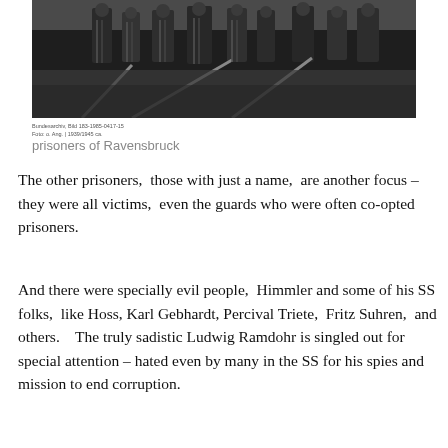[Figure (photo): Black and white photograph of prisoners of Ravensbruck concentration camp, standing near railroad tracks, wearing striped uniforms.]
prisoners of Ravensbruck
The other prisoners,  those with just a name,  are another focus – they were all victims,  even the guards who were often co-opted prisoners.
And there were specially evil people,  Himmler and some of his SS folks,  like Hoss, Karl Gebhardt, Percival Triete,  Fritz Suhren,  and others.   The truly sadistic Ludwig Ramdohr is singled out for special attention – hated even by many in the SS for his spies and mission to end corruption.